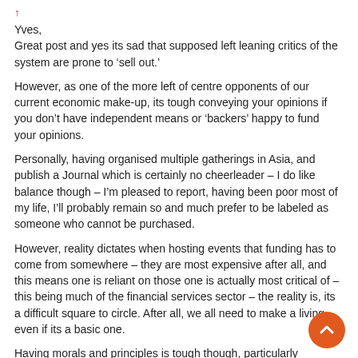Yves,
Great post and yes its sad that supposed left leaning critics of the system are prone to ‘sell out.’
However, as one of the more left of centre opponents of our current economic make-up, its tough conveying your opinions if you don’t have independent means or ‘backers’ happy to fund your opinions.
Personally, having organised multiple gatherings in Asia, and publish a Journal which is certainly no cheerleader – I do like balance though – I’m pleased to report, having been poor most of my life, I’ll probably remain so and much prefer to be labeled as someone who cannot be purchased.
However, reality dictates when hosting events that funding has to come from somewhere – they are most expensive after all, and this means one is reliant on those one is actually most critical of – this being much of the financial services sector – the reality is, its a difficult square to circle. After all, we all need to make a living, even if its a basic one.
Having morals and principles is tough though, particularly adhering to them in a capitalist society – selling out is not an option though, so at the end of the day I’d rather be poor with my principles intact, than rich with no principles whatsoever.